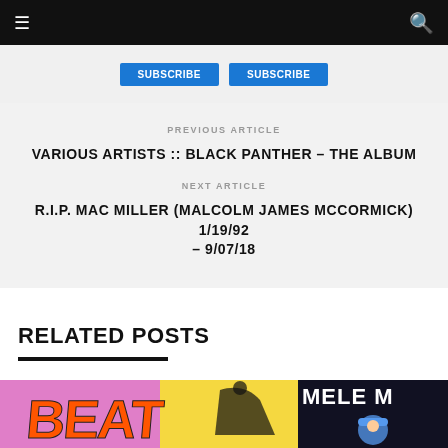Navigation bar with hamburger menu and search icon
PREVIOUS ARTICLE
VARIOUS ARTISTS :: BLACK PANTHER – THE ALBUM
NEXT ARTICLE
R.I.P. MAC MILLER (MALCOLM JAMES MCCORMICK) 1/19/92 – 9/07/18
RELATED POSTS
[Figure (photo): Album cover with colorful illustration featuring 'BEAT' text in orange on pink/yellow background]
[Figure (photo): Dark background image with 'MELE M' text and person wearing blue hat]